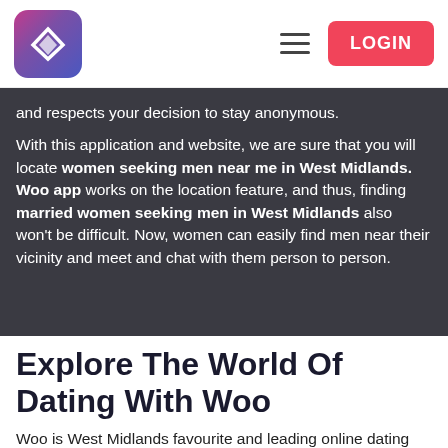WOO — LOGIN
and respects your decision to stay anonymous.
With this application and website, we are sure that you will locate women seeking men near me in West Midlands. Woo app works on the location feature, and thus, finding married women seeking men in West Midlands also won't be difficult. Now, women can easily find men near their vicinity and meet and chat with them person to person.
Explore The World Of Dating With Woo
Woo is West Midlands favourite and leading online dating application, which has successfully played the soft spot for